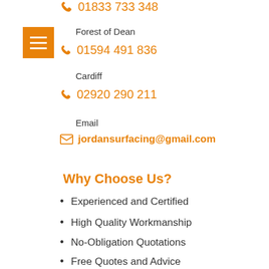01833 733 348
Forest of Dean
01594 491 836
Cardiff
02920 290 211
Email
jordansurfacing@gmail.com
Why Choose Us?
Experienced and Certified
High Quality Workmanship
No-Obligation Quotations
Free Quotes and Advice